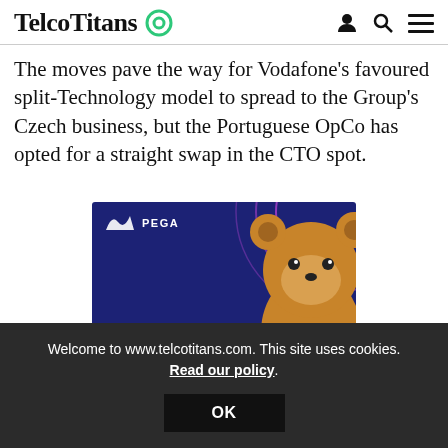TelcoTitans
The moves pave the way for Vodafone's favoured split-Technology model to spread to the Group's Czech business, but the Portuguese OpCo has opted for a straight swap in the CTO spot.
[Figure (illustration): PEGA advertisement banner with a teddy bear image, text 'If you can' in yellow on a dark blue background with decorative pink/purple circles. Partially obscured by cookie consent banner.]
Welcome to www.telcotitans.com. This site uses cookies. Read our policy.
OK